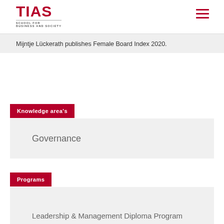TIAS SCHOOL FOR BUSINESS AND SOCIETY
Mijntje Lückerath publishes Female Board Index 2020.
Knowledge area's
Governance
Programs
Leadership & Management Diploma Program